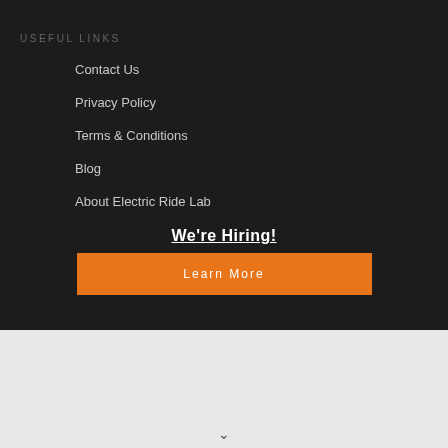USEFUL LINKS
Contact Us
Privacy Policy
Terms & Conditions
Blog
About Electric Ride Lab
We're Hiring!
Learn More